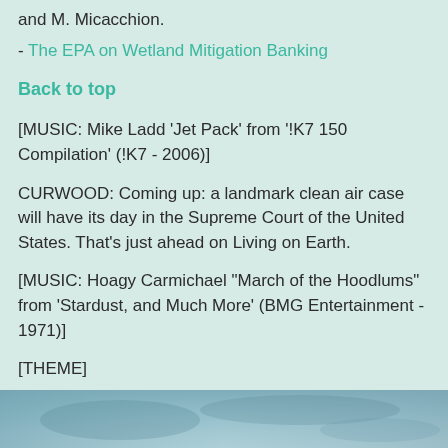and M. Micacchion.
- The EPA on Wetland Mitigation Banking
Back to top
[MUSIC: Mike Ladd ‘Jet Pack’ from ‘!K7 150 Compilation’ (!K7 - 2006)]
CURWOOD: Coming up: a landmark clean air case will have its day in the Supreme Court of the United States. That’s just ahead on Living on Earth.
[MUSIC: Hoagy Carmichael “March of the Hoodlums” from ‘Stardust, and Much More’ (BMG Entertainment - 1971)]
[THEME]
Clean Air Battle Heads to Supreme Court
[Figure (photo): Partial view of a photograph at the bottom of the page, showing what appears to be an outdoor scene with muted blue-grey tones.]